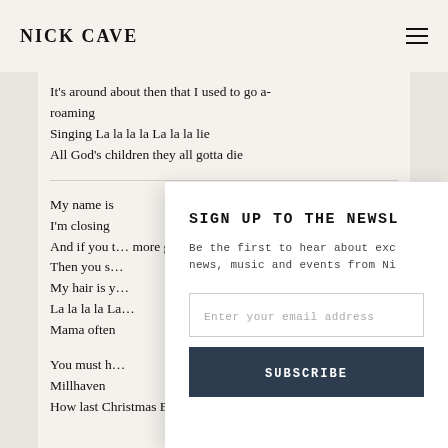NICK CAVE
It’s around about then that I used to go a-roaming
Singing La la la la La la la lie
All God’s children they all gotta die
My name is
I’m closing
And if you t… more green…
Then you s…
My hair is y…
La la la la La…
Mama often…
You must h…
Millhaven
How last Christmas Bill Blake’s little boy didn’t
[Figure (screenshot): Newsletter signup modal overlay with title SIGN UP TO THE NEWSLE..., description text 'Be the first to hear about exc... news, music and events from Ni...', email input field, and SUBSCRIBE button]